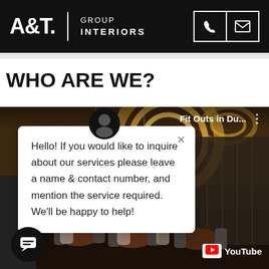[Figure (logo): A&T Group Interiors logo in white on black background with phone and email icon buttons]
WHO ARE WE?
[Figure (screenshot): A chat popup widget overlaying a restaurant interior video thumbnail. Chat reads: Hello! If you would like to inquire about our services please leave a name & contact number, and mention the service required. We'll be happy to help! The video shows a luxury restaurant interior with circular ceiling light and is labeled 'Fit Outs in Du...' with YouTube branding.]
Hello! If you would like to inquire about our services please leave a name & contact number, and mention the service required. We'll be happy to help!